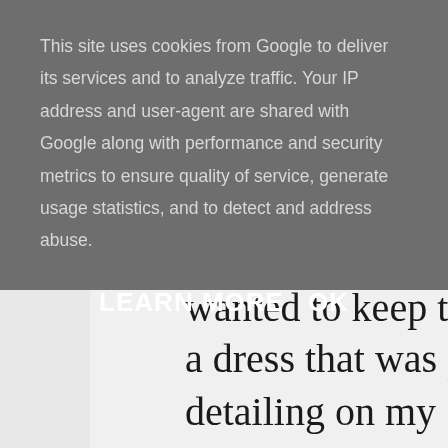This site uses cookies from Google to deliver its services and to analyze traffic. Your IP address and user-agent are shared with Google along with performance and security metrics to ensure quality of service, generate usage statistics, and to detect and address abuse.
LEARN MORE   OK
wanted to keep the focus o a dress that was plain t detailing on my Shoes. K be on my feet for most of t